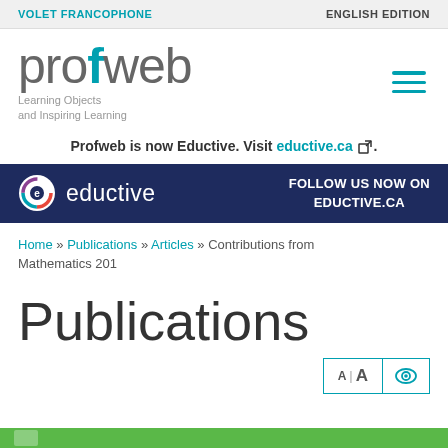VOLET FRANCOPHONE | ENGLISH EDITION
[Figure (logo): Profweb logo with tagline 'Learning Objects and Inspiring Learning']
Profweb is now Eductive. Visit eductive.ca
[Figure (logo): Eductive banner with text 'FOLLOW US NOW ON EDUCTIVE.CA']
Home » Publications » Articles » Contributions from Mathematics 201
Publications